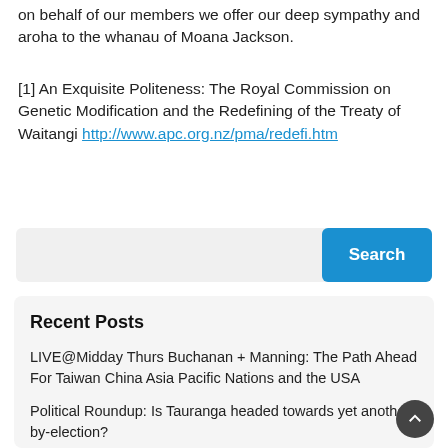on behalf of our members we offer our deep sympathy and aroha to the whanau of Moana Jackson.
[1] An Exquisite Politeness: The Royal Commission on Genetic Modification and the Redefining of the Treaty of Waitangi http://www.apc.org.nz/pma/redefi.htm
[Figure (other): Search bar with text input and blue Search button]
Recent Posts
LIVE@Midday Thurs Buchanan + Manning: The Path Ahead For Taiwan China Asia Pacific Nations and the USA
Political Roundup: Is Tauranga headed towards yet another by-election?
If we've finished destroying Sam Uffindell, can we do ASB next?